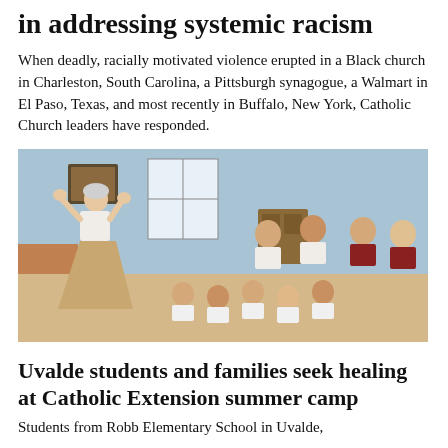in addressing systemic racism
When deadly, racially motivated violence erupted in a Black church in Charleston, South Carolina, a Pittsburgh synagogue, a Walmart in El Paso, Texas, and most recently in Buffalo, New York, Catholic Church leaders have responded.
[Figure (photo): A woman in white top and tan skirt stands gesturing with her hands raised to a group of children and adults seated on the floor and in chairs in a light blue room, appearing to lead an activity or presentation.]
Uvalde students and families seek healing at Catholic Extension summer camp
Students from Robb Elementary School in Uvalde,